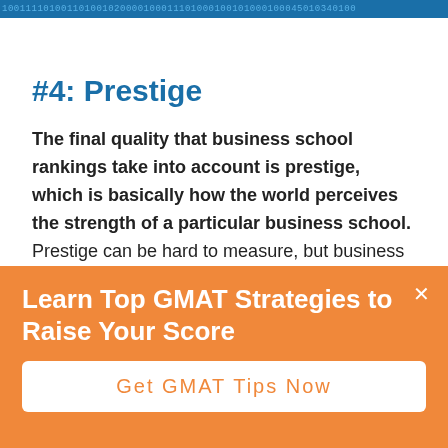[Figure (other): Binary code banner image at the top of the page, dark blue background with binary digits]
#4: Prestige
The final quality that business school rankings take into account is prestige, which is basically how the world perceives the strength of a particular business school. Prestige can be hard to measure, but business school rankings generally conduct prestige assessments by interviewing and surveying employers in the field to see how they view the value of a particular degree or by interviewing and
Learn Top GMAT Strategies to Raise Your Score
Get GMAT Tips Now